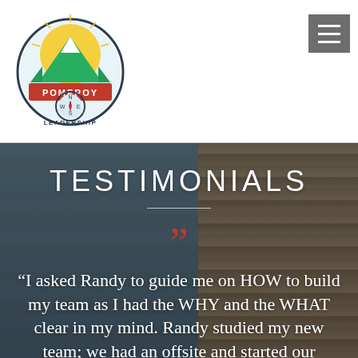[Figure (logo): Pomeroy Leadership circular logo with mountain, compass, skier, and red banner]
[Figure (other): Hamburger menu icon (three horizontal lines) on dark grey background]
[Figure (photo): Background photo showing people in a meeting room with wood-slat wall panels, overlaid with dark teal tint]
TESTIMONIALS
“I asked Randy to guide me on HOW to build my team as I had the WHY and the WHAT clear in my mind. Randy studied my new team; we had an offsite and started our journey. Now, our